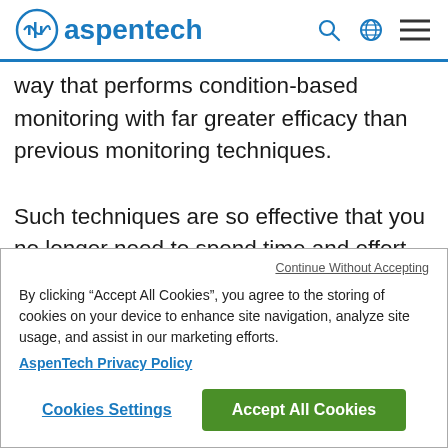aspentech
way that performs condition-based monitoring with far greater efficacy than previous monitoring techniques.
Such techniques are so effective that you no longer need to spend time and effort determining asset criticality with specious
Continue Without Accepting
By clicking “Accept All Cookies”, you agree to the storing of cookies on your device to enhance site navigation, analyze site usage, and assist in our marketing efforts.
AspenTech Privacy Policy
Cookies Settings
Accept All Cookies